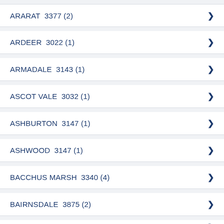ARARAT  3377 (2)
ARDEER  3022 (1)
ARMADALE  3143 (1)
ASCOT VALE  3032 (1)
ASHBURTON  3147 (1)
ASHWOOD  3147 (1)
BACCHUS MARSH  3340 (4)
BAIRNSDALE  3875 (2)
BALTERNMILL  3050 (1)